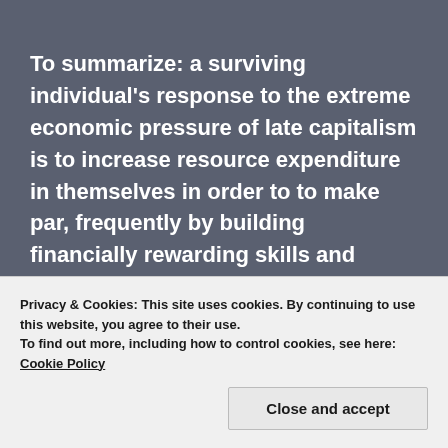To summarize: a surviving individual's response to the extreme economic pressure of late capitalism is to increase resource expenditure in themselves in order to to make par, frequently by building financially rewarding skills and social resources. Explicitly knowing what personal resources are and the rate at which they are expended during work is critical, as is a realistic work contract which recognizes the above. In the event of an
Privacy & Cookies: This site uses cookies. By continuing to use this website, you agree to their use.
To find out more, including how to control cookies, see here: Cookie Policy
Close and accept